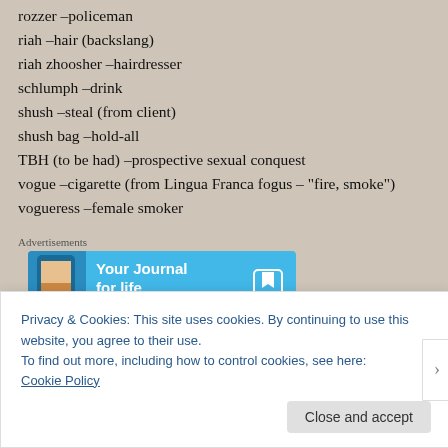rozzer -policeman
riah -hair (backslang)
riah zhoosher -hairdresser
schlumph -drink
shush -steal (from client)
shush bag -hold-all
TBH (to be had) -prospective sexual conquest
vogue -cigarette (from Lingua Franca fogus – "fire, smoke")
vogueress -female smoker
Advertisements
[Figure (other): Advertisement banner for DayOne journal app with blue background and phone image, text: Your Journal for life, DAVONE]
Then it was noughties and nineties playlists into the baking
Privacy & Cookies: This site uses cookies. By continuing to use this website, you agree to their use.
To find out more, including how to control cookies, see here:
Cookie Policy
Close and accept